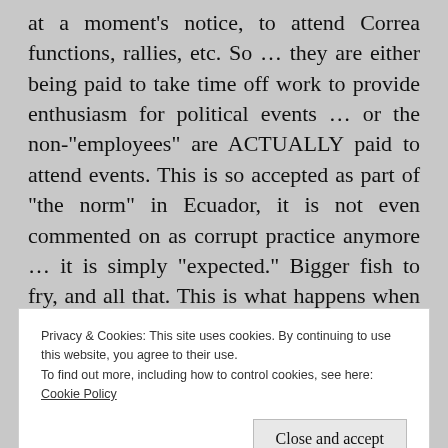at a moment's notice, to attend Correa functions, rallies, etc. So … they are either being paid to take time off work to provide enthusiasm for political events … or the non-"employees" are ACTUALLY paid to attend events. This is so accepted as part of "the norm" in Ecuador, it is not even commented on as corrupt practice anymore … it is simply "expected." Bigger fish to fry, and all that. This is what happens when endemic corruption
Privacy & Cookies: This site uses cookies. By continuing to use this website, you agree to their use.
To find out more, including how to control cookies, see here: Cookie Policy
Close and accept